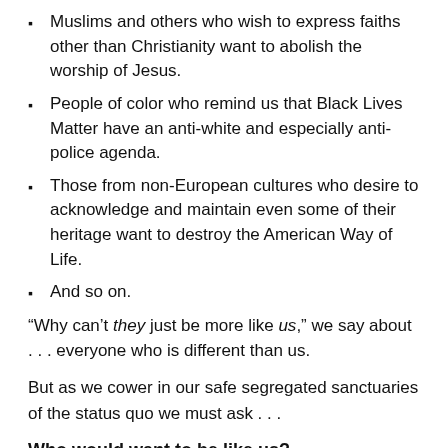Muslims and others who wish to express faiths other than Christianity want to abolish the worship of Jesus.
People of color who remind us that Black Lives Matter have an anti-white and especially anti-police agenda.
Those from non-European cultures who desire to acknowledge and maintain even some of their heritage want to destroy the American Way of Life.
And so on.
“Why can't they just be more like us,” we say about . . . everyone who is different than us.
But as we cower in our safe segregated sanctuaries of the status quo we must ask . . .
Who would want to be like us?
We exhaust ourselves and alienate others trying to